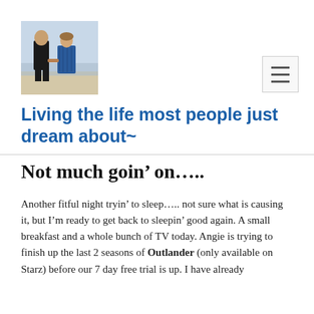[Figure (photo): Photo of a man and woman holding hands, walking on a beach. The man is in a black shirt and the woman is in a blue patterned dress.]
Living the life most people just dream about~
Not much goin’ on…..
Another fitful night tryin’ to sleep….. not sure what is causing it, but I’m ready to get back to sleepin’ good again. A small breakfast and a whole bunch of TV today. Angie is trying to finish up the last 2 seasons of Outlander (only available on Starz) before our 7 day free trial is up. I have already